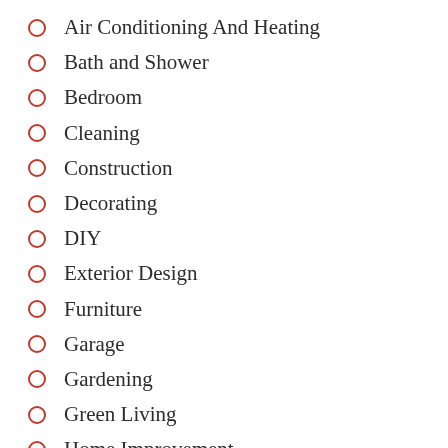Air Conditioning And Heating
Bath and Shower
Bedroom
Cleaning
Construction
Decorating
DIY
Exterior Design
Furniture
Garage
Gardening
Green Living
Home Improvement
House Plans